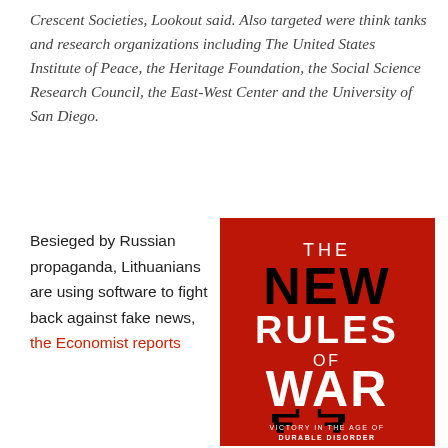Crescent Societies, Lookout said. Also targeted were think tanks and research organizations including The United States Institute of Peace, the Heritage Foundation, the Social Science Research Council, the East-West Center and the University of San Diego.
Besieged by Russian propaganda, Lithuanians are using software to fight back against fake news, the Economist reports
[Figure (illustration): Book cover of 'The New Rules of War: Victory in the Age of Durable Disorder' on a red background with two handgun silhouettes]